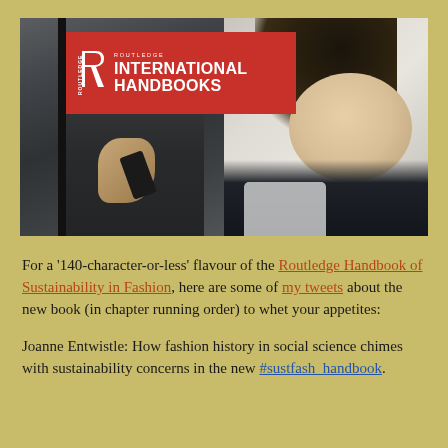[Figure (photo): Book cover image for Routledge International Handbooks showing two photos: left is a person in a dark apron, right is a woman looking sideways, with the Routledge International Handbooks logo overlaid on a red banner in the top left.]
For a '140-character-or-less' flavour of the Routledge Handbook of Sustainability in Fashion, here are some of my tweets about the new book (in chapter running order) to whet your appetites:
Joanne Entwistle: How fashion history in social science chimes with sustainability concerns in the new #sustfash_handbook.